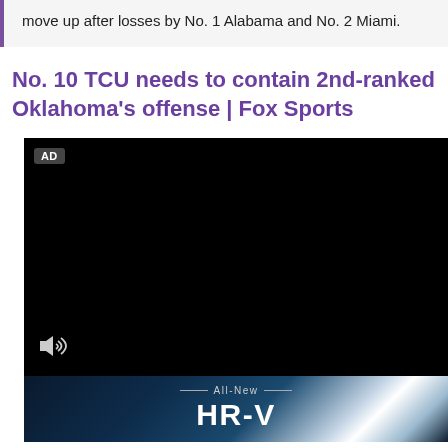move up after losses by No. 1 Alabama and No. 2 Miami.
No. 10 TCU needs to contain 2nd-ranked Oklahoma's offense | Fox Sports
[Figure (screenshot): Black video player with AD badge in top-left corner and volume/mute icon in bottom-left. Below the video is a dark blue automotive banner with abstract light streaks reading 'All-New' above large white text 'HR-V' (partially visible).]